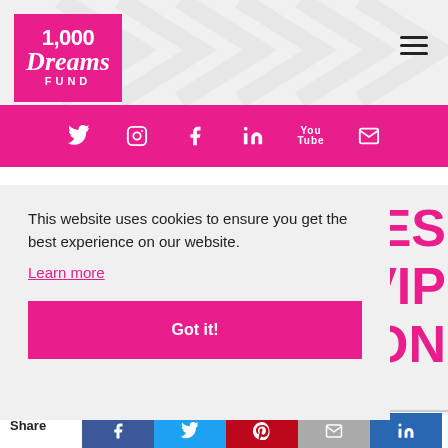[Figure (logo): 1,000 Dreams Fund logo — white text on pink square background. Shows '1,000' in bold, 'Dreams' in italic serif, 'FUND' in spaced caps.]
[Figure (infographic): Pink social media icon bar with Twitter, Instagram, Facebook, LinkedIn, YouTube, and email icons in white on magenta background.]
This website uses cookies to ensure you get the best experience on our website.
Learn more
Got it!
ES VIP TION
Share